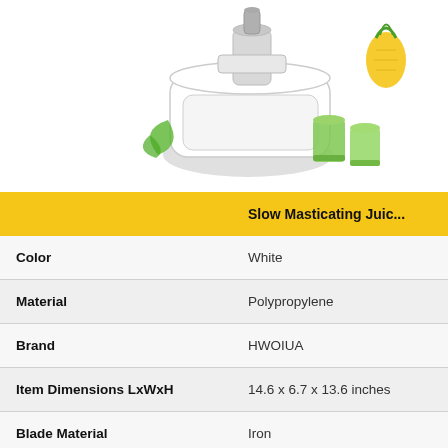[Figure (photo): Product photo of a white slow masticating juicer with green juice glasses and fruits in the background, positioned in the upper right of the page.]
|  | Slow Masticating Juic... |
| --- | --- |
| Color | White |
| Material | Polypropylene |
| Brand | HWOIUA |
| Item Dimensions LxWxH | 14.6 x 6.7 x 13.6 inches |
| Blade Material | Iron |
| Product Dimensions | 14.6 x 6.7 x 13.6 inches |
| Item Weight | 9.3 pounds |
| Country of Origin | China |